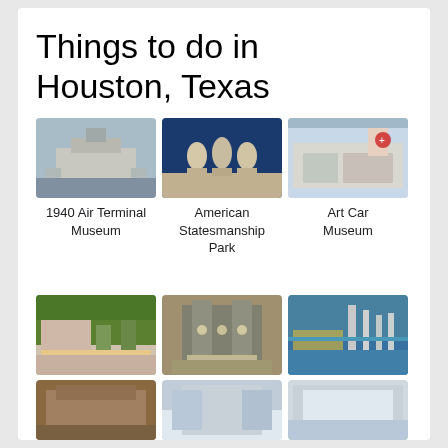Things to do in Houston, Texas
[Figure (photo): 1940 Air Terminal Museum exterior]
[Figure (photo): American Statesmanship Park statues]
[Figure (photo): Art Car Museum exterior]
1940 Air Terminal Museum
American Statesmanship Park
Art Car Museum
[Figure (photo): Bayou Bend Collection and Gardens exterior]
[Figure (photo): Beer Can House]
[Figure (photo): Buffalo Bayou Park waterway and skyline]
Bayou Bend Collection and Gardens
Beer Can House
Buffalo Bayou Park
[Figure (photo): Partially visible attraction photo 1]
[Figure (photo): Partially visible attraction photo 2]
[Figure (photo): Partially visible attraction photo 3]